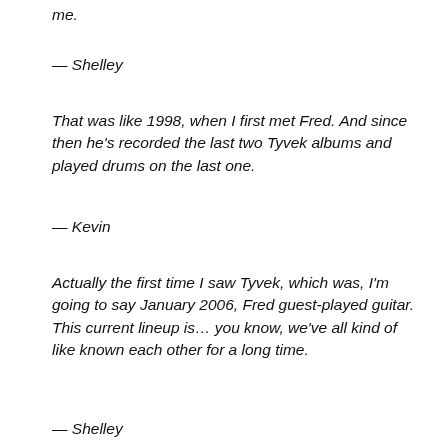me.
— Shelley
That was like 1998, when I first met Fred. And since then he's recorded the last two Tyvek albums and played drums on the last one.
— Kevin
Actually the first time I saw Tyvek, which was, I'm going to say January 2006, Fred guest-played guitar. This current lineup is… you know, we've all kind of like known each other for a long time.
— Shelley